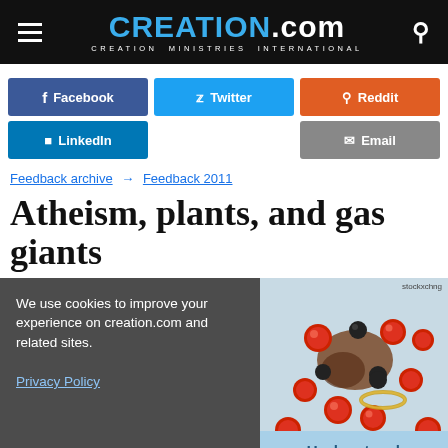CREATION.com — CREATION MINISTRIES INTERNATIONAL
[Figure (infographic): Social share buttons: Facebook (dark blue), Twitter (blue), Reddit (orange), LinkedIn (dark blue), Email (grey)]
Feedback archive → Feedback 2011
Atheism, plants, and gas giants
We use cookies to improve your experience on creation.com and related sites. Privacy Policy
stockxchng
[Figure (photo): Close-up photo of red and dark molecular model beads on a light blue background]
Understood